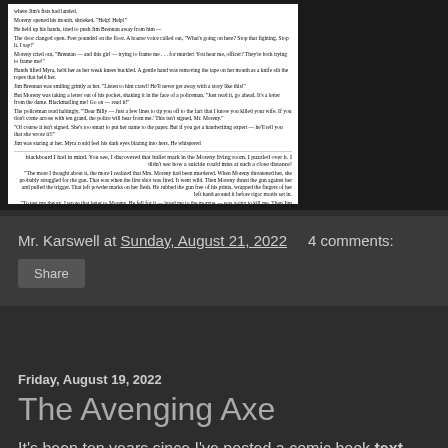[Figure (illustration): Scanned comic book story text in two columns, black text on white background, ending with 'THE END']
Mr. Karswell at Sunday, August 21, 2022   4 comments:
Share
Friday, August 19, 2022
The Avenging Axe
It's been ten years since I've posted a comic book text only